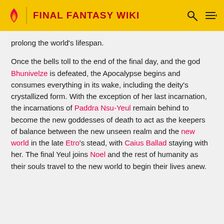FINAL FANTASY WIKI
prolong the world's lifespan.
Once the bells toll to the end of the final day, and the god Bhunivelze is defeated, the Apocalypse begins and consumes everything in its wake, including the deity's crystallized form. With the exception of her last incarnation, the incarnations of Paddra Nsu-Yeul remain behind to become the new goddesses of death to act as the keepers of balance between the new unseen realm and the new world in the late Etro's stead, with Caius Ballad staying with her. The final Yeul joins Noel and the rest of humanity as their souls travel to the new world to begin their lives anew.